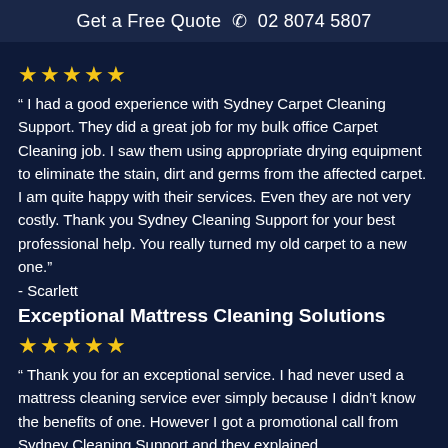Get a Free Quote ☎ 02 8074 5807
★★★★★
“ I had a good experience with Sydney Carpet Cleaning Support. They did a great job for my bulk office Carpet Cleaning job. I saw them using appropriate drying equipment to eliminate the stain, dirt and germs from the affected carpet. I am quite happy with their services. Even they are not very costly. Thank you Sydney Cleaning Support for your best professional help. You really turned my old carpet to a new one.”
- Scarlett
Exceptional Mattress Cleaning Solutions
★★★★★
“ Thank you for an exceptional service. I had never used a mattress cleaning service ever simply because I didn’t know the benefits of one. However I got a promotional call from Sydney Cleaning Support and they explained